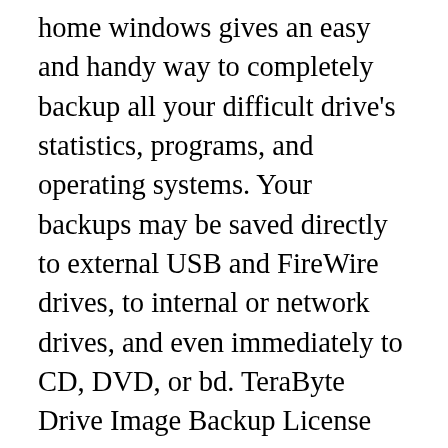home windows gives an easy and handy way to completely backup all your difficult drive's statistics, programs, and operating systems. Your backups may be saved directly to external USB and FireWire drives, to internal or network drives, and even immediately to CD, DVD, or bd. TeraByte Drive Image Backup License key With Keygen the suite includes a clean-to-use make disk wizard for developing a recovery boot disk. To repair your data, programs, and operating systems back to the manner they were whilst the backup becomes created, sincerely boot the restoration disk and restore the partition(s) or pressure(s) you need to get better. It's that clean.